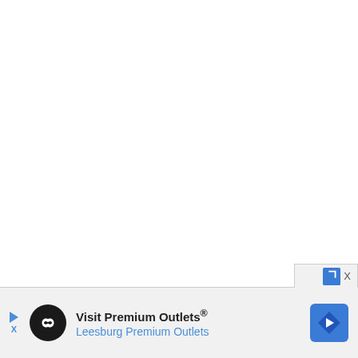[Figure (screenshot): Mostly blank white area representing an empty web page content area]
[Figure (screenshot): Browser advertisement banner at the bottom: 'Visit Premium Outlets® Leesburg Premium Outlets' with logo and navigation icon. Includes a close button (X) and an expand arrow icon in the upper right corner of the ad container.]